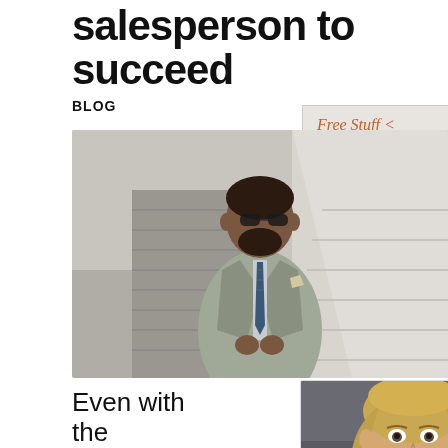salesperson to succeed
BLOG
Free Stuff <
[Figure (photo): A professionally dressed man in a grey suit with a blue tie, wearing sunglasses, posing on a staircase]
Even with the current staffi...
[Figure (photo): Professional headshot of a blonde woman against a grey background]